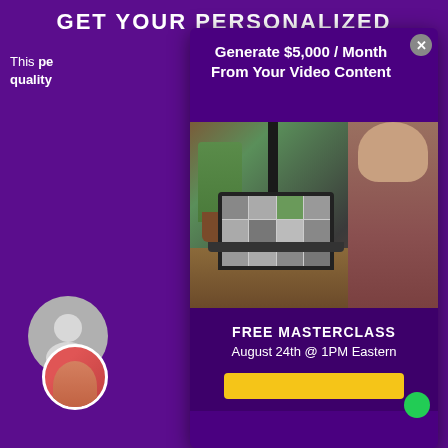GET YOUR PERSONALIZED
This personalized quality
Generate $5,000 / Month From Your Video Content
[Figure (photo): Person sitting at laptop on a video call with multiple participants visible on screen; plant and microphone visible in background]
FREE MASTERCLASS
August 24th @ 1PM Eastern